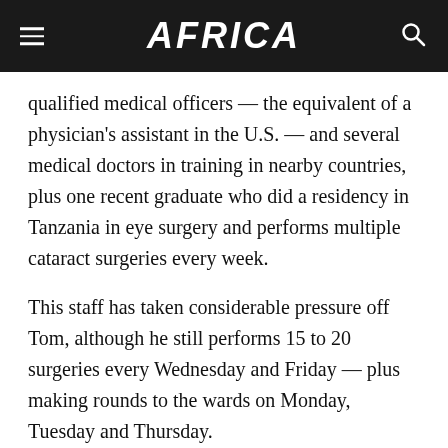AFRICA
qualified medical officers — the equivalent of a physician's assistant in the U.S. — and several medical doctors in training in nearby countries, plus one recent graduate who did a residency in Tanzania in eye surgery and performs multiple cataract surgeries every week.
This staff has taken considerable pressure off Tom, although he still performs 15 to 20 surgeries every Wednesday and Friday — plus making rounds to the wards on Monday, Tuesday and Thursday.
Avoiding burnout
When asked how he keeps up this pace, Tom said that he had read about burnout being a problem in the U.S.